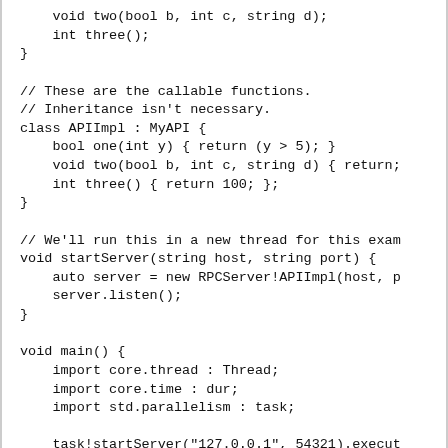void two(bool b, int c, string d);
    int three();
}

// These are the callable functions.
// Inheritance isn't necessary.
class APIImpl : MyAPI {
    bool one(int y) { return (y > 5); }
    void two(bool b, int c, string d) { return;
    int three() { return 100; };
}

// We'll run this in a new thread for this exam
void startServer(string host, string port) {
    auto server = new RPCServer!APIImpl(host, p
    server.listen();
}

void main() {
    import core.thread : Thread;
    import core.time : dur;
    import std.parallelism : task;

    task!startServer("127.0.0.1", 54321).execut
    Thread.sleep(dur!"seconds"(3)); // Give it

    // Now create a client.
    auto client = new RPCClient!MyAPI("127.0.0.

    // These are calls that return the function